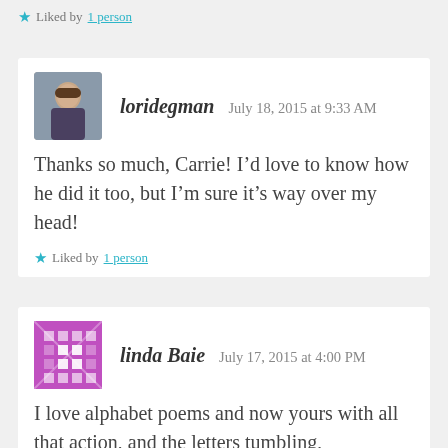Liked by 1 person
[Figure (photo): Profile photo of loridegman, a woman with short brown hair]
loridegman   July 18, 2015 at 9:33 AM
Thanks so much, Carrie! I’d love to know how he did it too, but I’m sure it’s way over my head!
Liked by 1 person
[Figure (illustration): Avatar for linda Baie, purple geometric pattern]
linda Baie   July 17, 2015 at 4:00 PM
I love alphabet poems and now yours with all that action, and the letters tumbling,